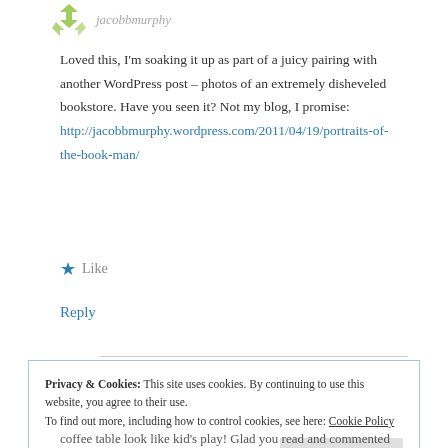[Figure (logo): Green geometric star/arrow logo]
Loved this, I'm soaking it up as part of a juicy pairing with another WordPress post – photos of an extremely disheveled bookstore. Have you seen it? Not my blog, I promise: http://jacobbmurphy.wordpress.com/2011/04/19/portraits-of-the-book-man/
★ Like
Reply
Privacy & Cookies: This site uses cookies. By continuing to use this website, you agree to their use. To find out more, including how to control cookies, see here: Cookie Policy
coffee table look like kid's play! Glad you read and commented